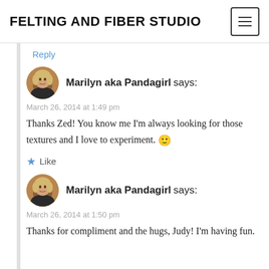FELTING AND FIBER STUDIO
Reply
Marilyn aka Pandagirl says:
March 26, 2014 at 1:49 pm
Thanks Zed! You know me I'm always looking for those textures and I love to experiment. 🙂
Like
Marilyn aka Pandagirl says:
March 26, 2014 at 1:50 pm
Thanks for compliment and the hugs, Judy! I'm having fun.